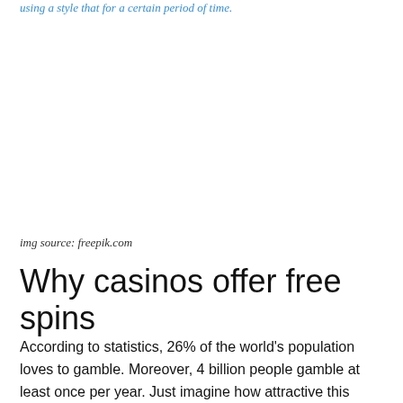using a style that for a certain period of time.
[Figure (photo): Image placeholder area (blank white space representing a photo sourced from freepik.com)]
img source: freepik.com
Why casinos offer free spins
According to statistics, 26% of the world's population loves to gamble. Moreover, 4 billion people gamble at least once per year. Just imagine how attractive this